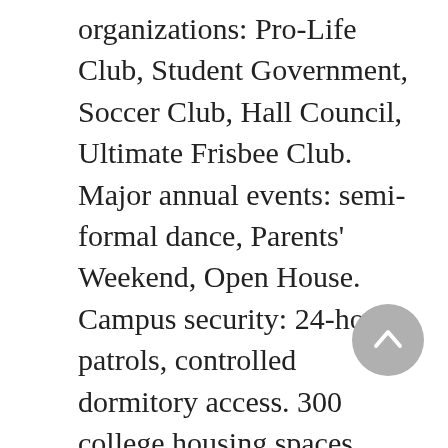organizations: Pro-Life Club, Student Government, Soccer Club, Hall Council, Ultimate Frisbee Club. Major annual events: semi-formal dance, Parents' Weekend, Open House. Campus security: 24-hour patrols, controlled dormitory access. 300 college housing spaces available. Freshmen guaranteed college housing. On-campus residence required through senior year. Options: men-only, women-only housing available.